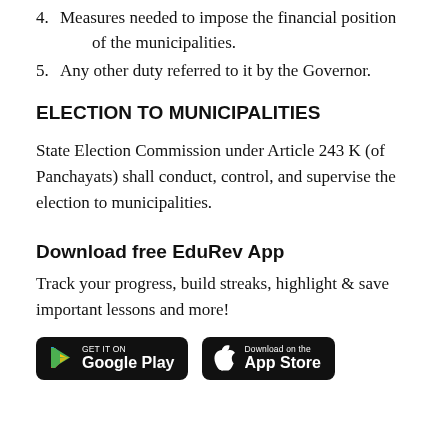4. Measures needed to impose the financial position of the municipalities.
5. Any other duty referred to it by the Governor.
ELECTION TO MUNICIPALITIES
State Election Commission under Article 243 K (of Panchayats) shall conduct, control, and supervise the election to municipalities.
Download free EduRev App
Track your progress, build streaks, highlight & save important lessons and more!
[Figure (logo): Google Play and App Store download buttons]